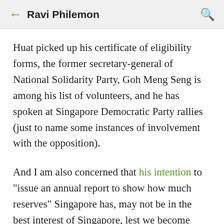← Ravi Philemon 🔍
Huat picked up his certificate of eligibility forms, the former secretary-general of National Solidarity Party, Goh Meng Seng is among his list of volunteers, and he has spoken at Singapore Democratic Party rallies (just to name some instances of involvement with the opposition).
And I am also concerned that his intention to "issue an annual report to show how much reserves" Singapore has, may not be in the best interest of Singapore, lest we become targets of global raiders.